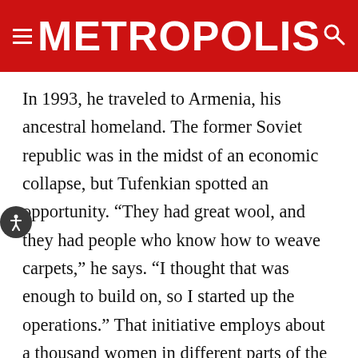METROPOLIS
In 1993, he traveled to Armenia, his ancestral homeland. The former Soviet republic was in the midst of an economic collapse, but Tufenkian spotted an opportunity. “They had great wool, and they had people who know how to weave carpets,” he says. “I thought that was enough to build on, so I started up the operations.” That initiative employs about a thousand women in different parts of the country. His work in Armenia now includes a foundation, a chain of boutique hotels